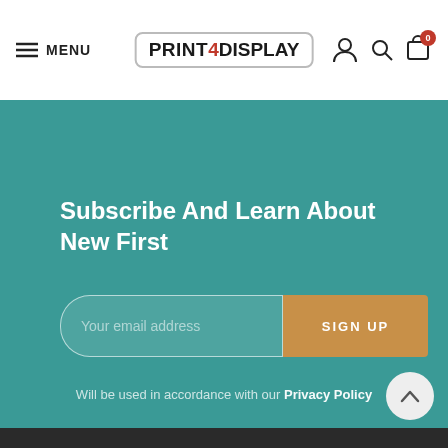[Figure (logo): Print4Display website header with hamburger menu, logo, and icons for account, search, and cart]
Subscribe And Learn About New First
[Figure (screenshot): Email subscription form with input field labeled 'Your email address' and a 'SIGN UP' button]
Will be used in accordance with our Privacy Policy